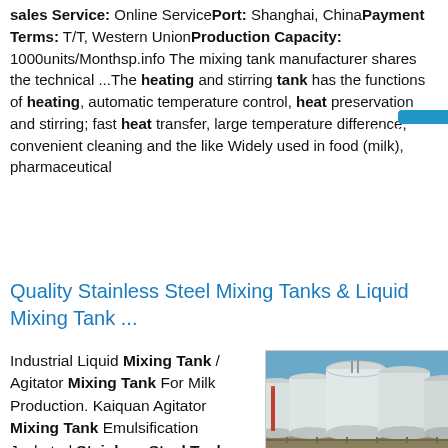sales Service: Online Service Port: Shanghai, China Payment Terms: T/T, Western Union Production Capacity: 1000units/Month sp.info The mixing tank manufacturer shares the technical ...The heating and stirring tank has the functions of heating, automatic temperature control, heat preservation and stirring; fast heat transfer, large temperature difference, convenient cleaning and the like Widely used in food (milk), pharmaceutical
Quality Stainless Steel Mixing Tanks & Liquid Mixing Tank ...
Industrial Liquid Mixing Tank / Agitator Mixing Tank For Milk Production. Kaiquan Agitator Mixing Tank Emulsification Jacketed Stainless Steel Tank. 100L - 10000L Sanitary Stainless
[Figure (photo): Row of large white industrial storage tanks at an industrial facility under a blue sky]